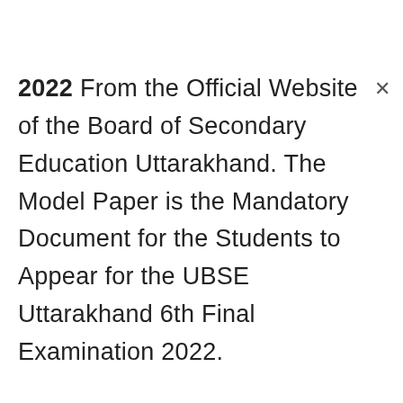2022 From the Official Website of the Board of Secondary Education Uttarakhand. The Model Paper is the Mandatory Document for the Students to Appear for the UBSE Uttarakhand 6th Final Examination 2022.